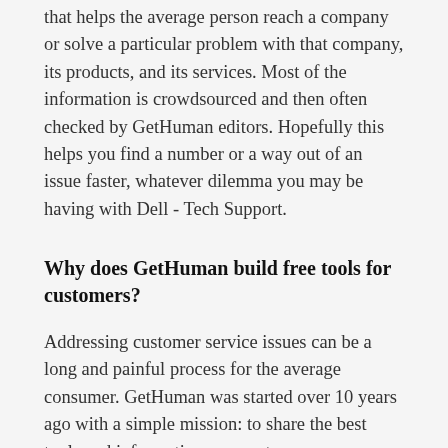that helps the average person reach a company or solve a particular problem with that company, its products, and its services. Most of the information is crowdsourced and then often checked by GetHuman editors. Hopefully this helps you find a number or a way out of an issue faster, whatever dilemma you may be having with Dell - Tech Support.
Why does GetHuman build free tools for customers?
Addressing customer service issues can be a long and painful process for the average consumer. GetHuman was started over 10 years ago with a simple mission: to share the best tools and information amongst consumers everywhere to make getting support from companies like Dell - Tech Support a bit easier. The